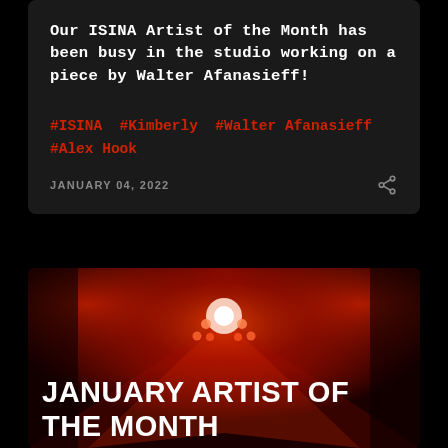Our ISINA Artist of the Month has been busy in the studio working on a piece by Walter Afanasieff!
#ISINA #Kimberly #Walter Afanasieff #Alex Hook
JANUARY 04, 2022
[Figure (photo): Red-lit studio/stage photo with spotlights viewed from below, with bold white text overlay reading 'JANUARY ARTIST OF THE MONTH']